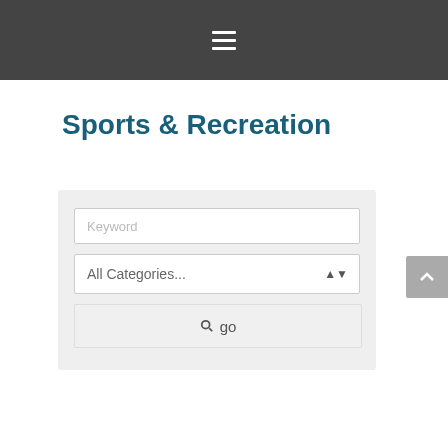Navigation menu (hamburger icon)
Sports & Recreation
[Figure (screenshot): Search form with keyword input, all categories dropdown, and go button on a light gray background]